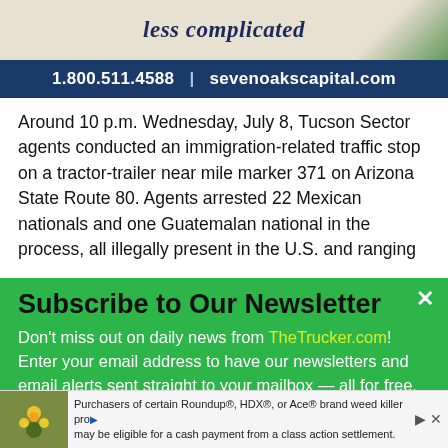[Figure (infographic): Advertisement banner top portion showing italic text 'less complicated' on beige background with a green semi-truck visible at right]
1.800.511.4588  |  sevenoakscapital.com
Around 10 p.m. Wednesday, July 8, Tucson Sector agents conducted an immigration-related traffic stop on a tractor-trailer near mile marker 371 on Arizona State Route 80. Agents arrested 22 Mexican nationals and one Guatemalan national in the process, all illegally present in the U.S. and ranging
Subscribe to Our Newsletter
Don't miss out on daily news from TheTrucker.com! Enter your email address to have our newsletters and email alerts sent straight to your mailbox — all for free.
[Figure (infographic): Bottom advertisement bar with plant/flower image on left and text about Roundup, HDX, or Ace brand weed killer class action settlement]